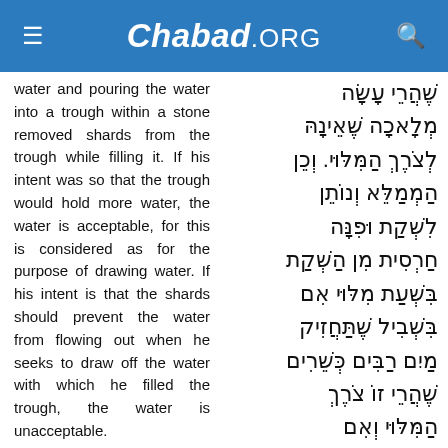Chabad.ORG
water and pouring the water into a trough within a stone removed shards from the trough while filling it. If his intent was so that the trough would hold more water, the water is acceptable, for this is considered as for the purpose of drawing water. If his intent is that the shards should prevent the water from flowing out when he seeks to draw off the water with which he filled the trough, the water is unacceptable.
שֶׁהֲרֵי עָשָׂה מְלָאכָה שֶׁאֵינָהּ לְצֹרֶךְ הַמִּלּוּי. וְכֵן הַמְמַלֵּא וְנוֹתֵן לִשְׁקַת וּפִנָּה חַרְסִית מִן הַשְׁקַת בִּשְׁעַת מִלּוּי אִם בִּשְׁבִיל שֶׁתַּחֲזִיק מַיִם רַבִּים כְּשֵׁרִים שֶׁהֲרֵי זוֹ צֹרֶךְ הַמִּלּוּי וְאִם